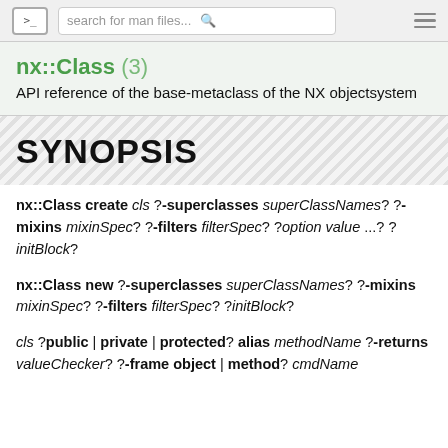search for man files...
nx::Class (3)
API reference of the base-metaclass of the NX objectsystem
SYNOPSIS
nx::Class create cls ?-superclasses superClassNames? ?-mixins mixinSpec? ?-filters filterSpec? ?option value ...? ?initBlock?
nx::Class new ?-superclasses superClassNames? ?-mixins mixinSpec? ?-filters filterSpec? ?initBlock?
cls ?public | private | protected? alias methodName ?-returns valueChecker? ?-frame object | method? cmdName